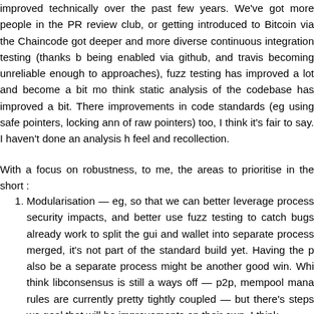improved technically over the past few years. We've got more people in the PR review club, or getting introduced to Bitcoin via the Chaincode got deeper and more diverse continuous integration testing (thanks b being enabled via github, and travis becoming unreliable enough to approaches), fuzz testing has improved a lot and become a bit mo think static analysis of the codebase has improved a bit. There improvements in code standards (eg using safe pointers, locking ann of raw pointers) too, I think it's fair to say. I haven't done an analysis h feel and recollection.
With a focus on robustness, to me, the areas to prioritise in the short :
Modularisation — eg, so that we can better leverage process security impacts, and better use fuzz testing to catch bugs already work to split the gui and wallet into separate process merged, it's not part of the standard build yet. Having the p also be a separate process might be another good win. Whi think libconsensus is still a ways off — p2p, mempool mana rules are currently pretty tightly coupled — but there's steps we goal that will be improvements on their own, I think.
The P2P network — This is the obvious way to attack Bitc everyone has access to it. There are multiple levels to this: p p2p network may allow you to violate users' privacy expe isolating users onto independent networks can break